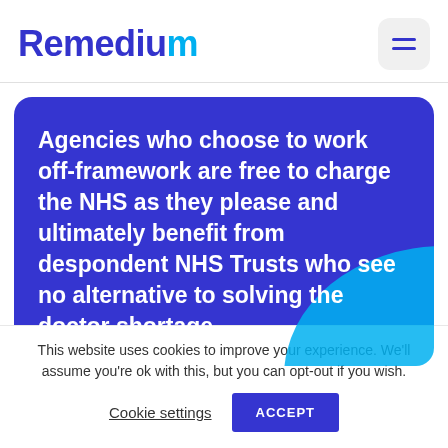Remedium
Agencies who choose to work off-framework are free to charge the NHS as they please and ultimately benefit from despondent NHS Trusts who see no alternative to solving the doctor shortage
This website uses cookies to improve your experience. We'll assume you're ok with this, but you can opt-out if you wish.
Cookie settings   ACCEPT